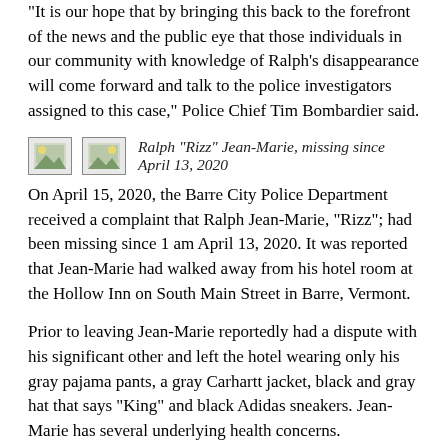“It is our hope that by bringing this back to the forefront of the news and the public eye that those individuals in our community with knowledge of Ralph’s disappearance will come forward and talk to the police investigators assigned to this case,” Police Chief Tim Bombardier said.
[Figure (photo): Two thumbnail photos of Ralph “Rizz” Jean-Marie]
Ralph “Rizz” Jean-Marie, missing since April 13, 2020
On April 15, 2020, the Barre City Police Department received a complaint that Ralph Jean-Marie, “Rizz”; had been missing since 1 am April 13, 2020.  It was reported that Jean-Marie had walked away from his hotel room at the Hollow Inn on South Main Street in Barre, Vermont.
Prior to leaving Jean-Marie reportedly had a dispute with his significant other and left the hotel wearing only his gray pajama pants, a gray Carhartt jacket, black and gray hat that says “King” and black Adidas sneakers.  Jean-Marie has several underlying health concerns.
Jean-Marie is described as a 38-year-old black male, approximate height of 5’10”, weight of 140 lbs, brown eyes and black hair.  Jean-Marie left the hotel without his